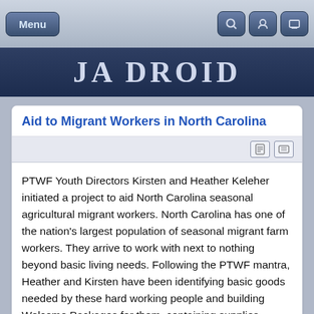Menu
JA DROID
Aid to Migrant Workers in North Carolina
PTWF Youth Directors Kirsten and Heather Keleher initiated a project to aid North Carolina seasonal agricultural migrant workers. North Carolina has one of the nation's largest population of seasonal migrant farm workers. They arrive to work with next to nothing beyond basic living needs. Following the PTWF mantra, Heather and Kirsten have been identifying basic goods needed by these hard working people and building Welcome Packages for them, containing supplies.